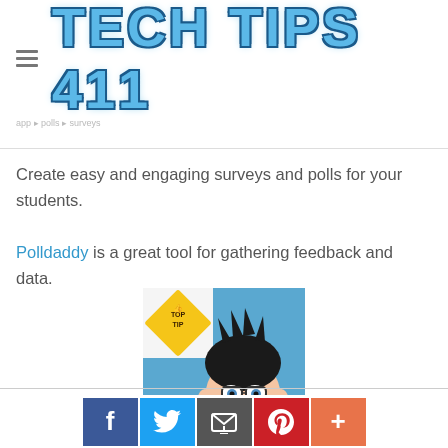Tech Tips 411
Create easy and engaging surveys and polls for your students.
Polldaddy is a great tool for gathering feedback and data.
[Figure (illustration): Cartoon avatar of a person with dark spiky hair and glasses, with a yellow 'Top Tip' diamond sign in the upper left corner, on a blue background.]
Social share buttons: Facebook, Twitter, Email, Pinterest, More